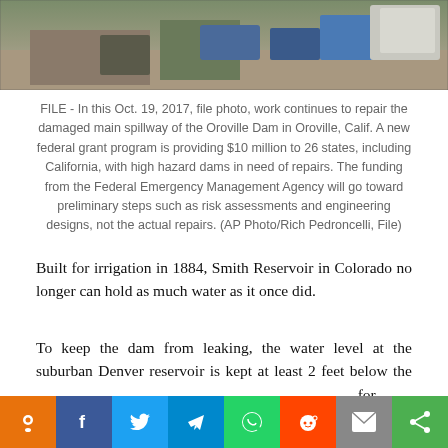[Figure (photo): Aerial view of construction equipment and workers repairing the damaged main spillway of the Oroville Dam in Oroville, California, October 19, 2017.]
FILE - In this Oct. 19, 2017, file photo, work continues to repair the damaged main spillway of the Oroville Dam in Oroville, Calif. A new federal grant program is providing $10 million to 26 states, including California, with high hazard dams in need of repairs. The funding from the Federal Emergency Management Agency will go toward preliminary steps such as risk assessments and engineering designs, not the actual repairs. (AP Photo/Rich Pedroncelli, File)
Built for irrigation in 1884, Smith Reservoir in Colorado no longer can hold as much water as it once did.
To keep the dam from leaking, the water level at the suburban Denver reservoir is kept at least 2 feet below the [share bar] for